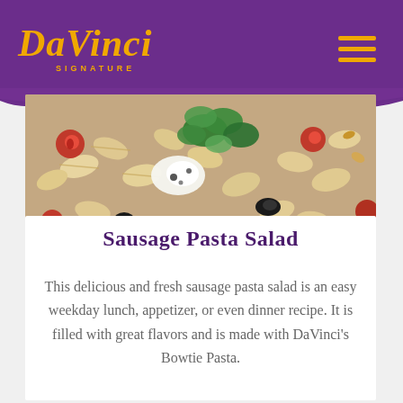DaVinci Signature
[Figure (photo): Close-up photo of sausage pasta salad with farfalle (bowtie) pasta, roasted tomatoes, fresh herbs (basil/parsley), black olives, and mozzarella cheese]
Sausage Pasta Salad
This delicious and fresh sausage pasta salad is an easy weekday lunch, appetizer, or even dinner recipe. It is filled with great flavors and is made with DaVinci's Bowtie Pasta.